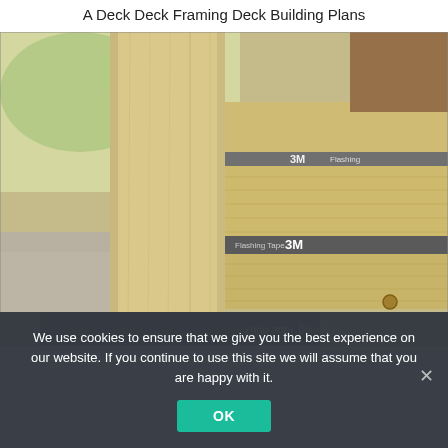A Deck Deck Framing Deck Building Plans
[Figure (photo): Close-up photograph of deck framing construction showing wooden lumber posts and joists with 3M flashing tape applied at joist connections. The tape is visible with text reading 'Flashing Tape 8067' partially upside down at the bottom of the image.]
We use cookies to ensure that we give you the best experience on our website. If you continue to use this site we will assume that you are happy with it.